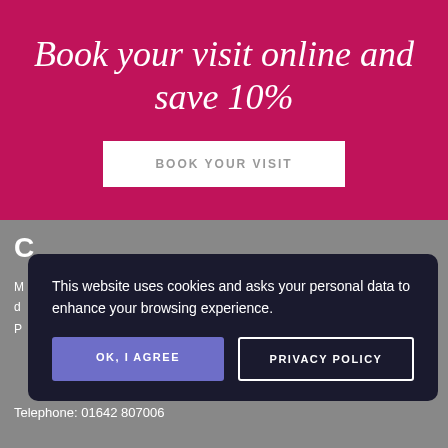Book your visit online and save 10%
BOOK YOUR VISIT
This website uses cookies and asks your personal data to enhance your browsing experience.
OK, I AGREE
PRIVACY POLICY
Telephone: 01642 807006